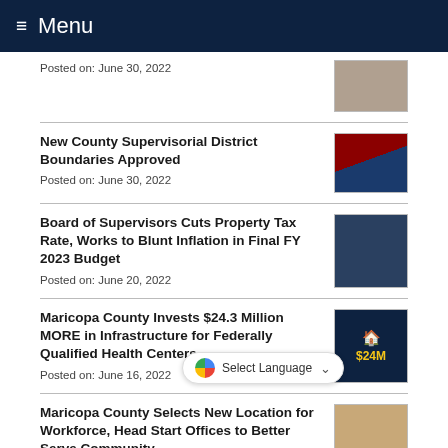Menu
Posted on: June 30, 2022
New County Supervisorial District Boundaries Approved
Posted on: June 30, 2022
Board of Supervisors Cuts Property Tax Rate, Works to Blunt Inflation in Final FY 2023 Budget
Posted on: June 20, 2022
Maricopa County Invests $24.3 Million MORE in Infrastructure for Federally Qualified Health Centers
Posted on: June 16, 2022
Maricopa County Selects New Location for Workforce, Head Start Offices to Better Serve Community